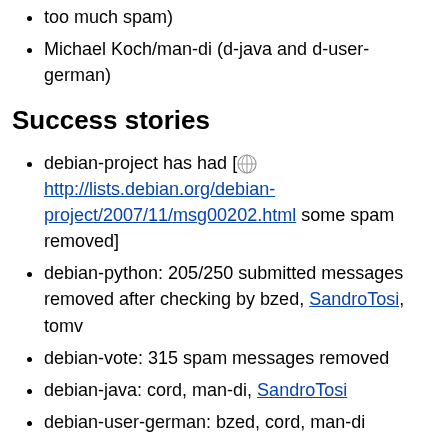too much spam)
Michael Koch/man-di (d-java and d-user-german)
Success stories
debian-project has had [ http://lists.debian.org/debian-project/2007/11/msg00202.html some spam removed]
debian-python: 205/250 submitted messages removed after checking by bzed, SandroTosi, tomv
debian-vote: 315 spam messages removed
debian-java: cord, man-di, SandroTosi
debian-user-german: bzed, cord, man-di
Getting program and data
[ http://liszt.debian.org/~tviehmann/spam/] has a